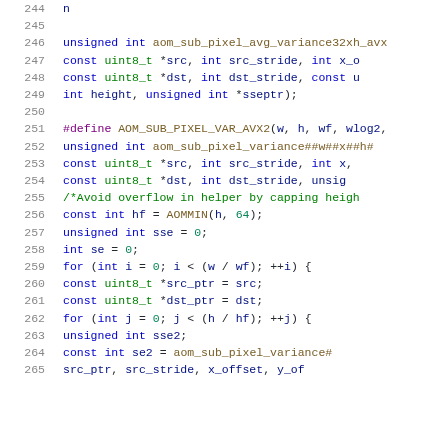Source code listing, lines 244–265, C/C++ code involving aom_sub_pixel functions and AVX2 macros